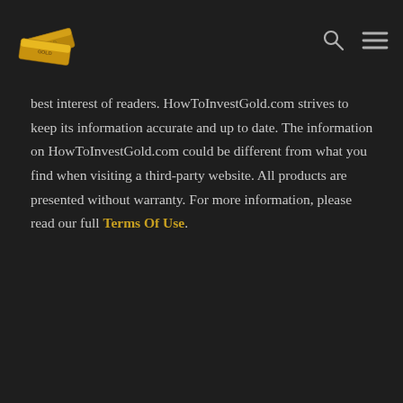HowToInvestGold.com logo, search icon, menu icon
best interest of readers. HowToInvestGold.com strives to keep its information accurate and up to date. The information on HowToInvestGold.com could be different from what you find when visiting a third-party website. All products are presented without warranty. For more information, please read our full Terms Of Use.